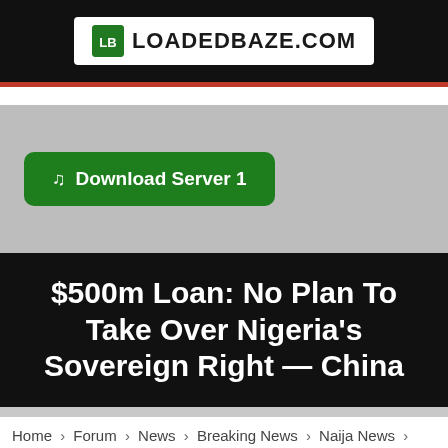LOADEDBAZE.COM
Download Server 1
$500m Loan: No Plan To Take Over Nigeria's Sovereign Right — China
Home › Forum › News › Breaking News › Naija News ›
$500m Loan: No Plan To Take